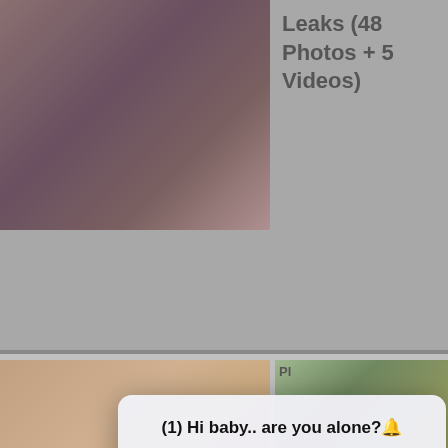Leaks (48 Photos + 5 Videos)
[Figure (photo): Screenshot of a webpage with photos and a browser dialog box overlay saying '(1) Hi baby.. are you alone?' with Alice (Online) message and Cancel/OK buttons]
(1) Hi baby.. are you alone?🔔
Alice (Online) 🟢 Click to see her profile ←
CANCEL
OK